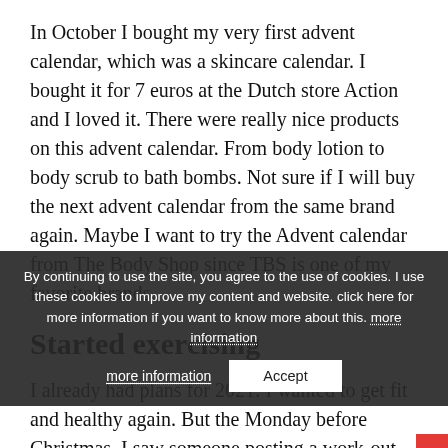In October I bought my very first advent calendar, which was a skincare calendar. I bought it for 7 euros at the Dutch store Action and I loved it. There were really nice products on this advent calendar. From body lotion to body scrub to bath bombs. Not sure if I will buy the next advent calendar from the same brand again. Maybe I want to try the Advent calendar from The Body Shop since TBS is one of my favorite brands.
Started exercising
I already had plans for 2021: I wanted to get fit and healthy again. But the Monday before Christmas, I saw someone posting a work-out routine on their Insta stories. The first week was really easy and I decided to challenge myself a little bit more. The second week was already harder but still finished it. I am proud of myself because I always stopped working out after a few days. But this time I am really doing
By continuing to use the site, you agree to the use of cookies. I use these cookies to improve my content and website. click here for more information if you want to know more about this. more information